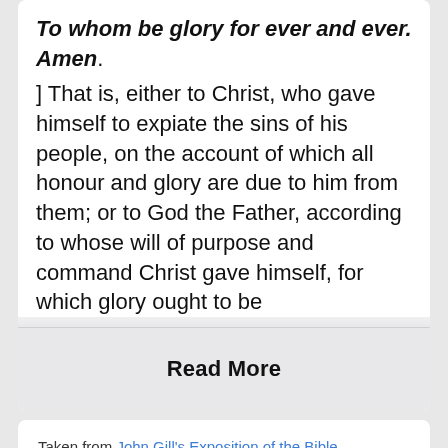To whom be glory for ever and ever. Amen. ] That is, either to Christ, who gave himself to expiate the sins of his people, on the account of which all honour and glory are due to him from them; or to God the Father, according to whose will of purpose and command Christ gave himself, for which glory ought to be
Read More
Taken from John Gill's Exposition of the Bible
Galatians 1:5 In-Context